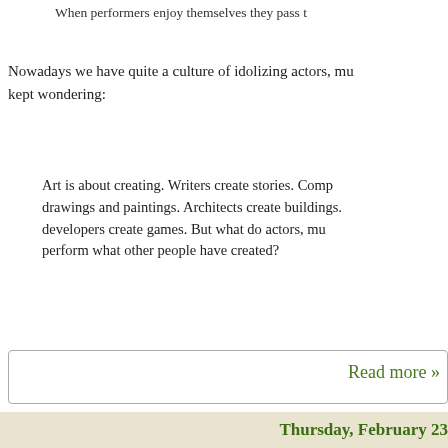When performers enjoy themselves they pass t
Nowadays we have quite a culture of idolizing actors, mu kept wondering:
Art is about creating. Writers create stories. Comp drawings and paintings. Architects create buildings. developers create games. But what do actors, mu perform what other people have created?
Read more »
Posted by Feael Silmarien at 3:00:00 PM   No commen
Thursday, February 23